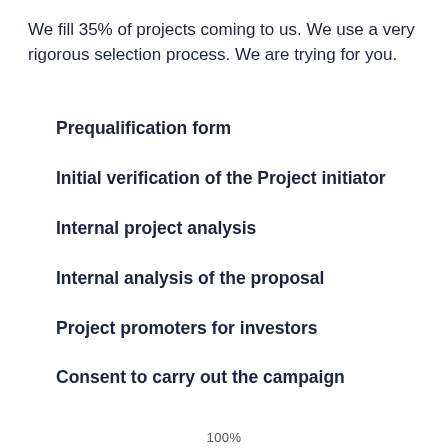We fill 35% of projects coming to us. We use a very rigorous selection process. We are trying for you.
Prequalification form
Initial verification of the Project initiator
Internal project analysis
Internal analysis of the proposal
Project promoters for investors
Consent to carry out the campaign
100%